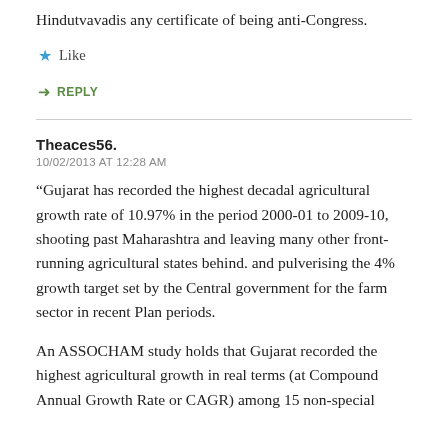Hindutvavadis any certificate of being anti-Congress.
Like
REPLY
Theaces56.
10/02/2013 AT 12:28 AM
“Gujarat has recorded the highest decadal agricultural growth rate of 10.97% in the period 2000-01 to 2009-10, shooting past Maharashtra and leaving many other front-running agricultural states behind. and pulverising the 4% growth target set by the Central government for the farm sector in recent Plan periods.
An ASSOCHAM study holds that Gujarat recorded the highest agricultural growth in real terms (at Compound Annual Growth Rate or CAGR) among 15 non-special